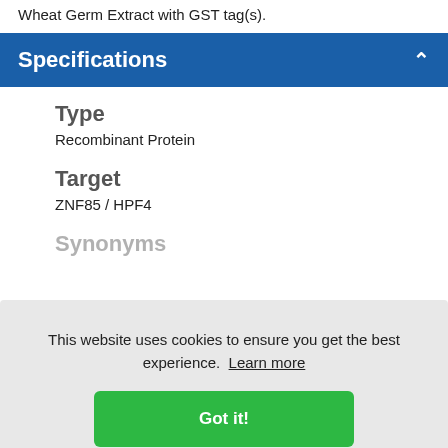Wheat Germ Extract with GST tag(s).
Specifications
Type
Recombinant Protein
Target
ZNF85 / HPF4
Synonyms
This website uses cookies to ensure you get the best experience. Learn more
Species
Human
Modifications